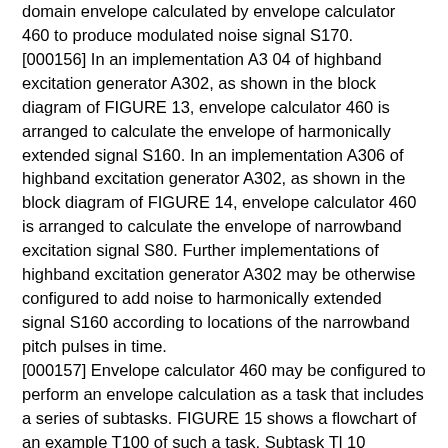domain envelope calculated by envelope calculator 460 to produce modulated noise signal S170.
[000156] In an implementation A3 04 of highband excitation generator A302, as shown in the block diagram of FIGURE 13, envelope calculator 460 is arranged to calculate the envelope of harmonically extended signal S160. In an implementation A306 of highband excitation generator A302, as shown in the block diagram of FIGURE 14, envelope calculator 460 is arranged to calculate the envelope of narrowband excitation signal S80. Further implementations of highband excitation generator A302 may be otherwise configured to add noise to harmonically extended signal S160 according to locations of the narrowband pitch pulses in time.
[000157] Envelope calculator 460 may be configured to perform an envelope calculation as a task that includes a series of subtasks. FIGURE 15 shows a flowchart of an example T100 of such a task, Subtask Tl 10 calculates the square of each sample of the frame of the signal whose envelope is to be modeled (for example, narrowband excitation signal S80 or harmonically extended signal S160) to produce a